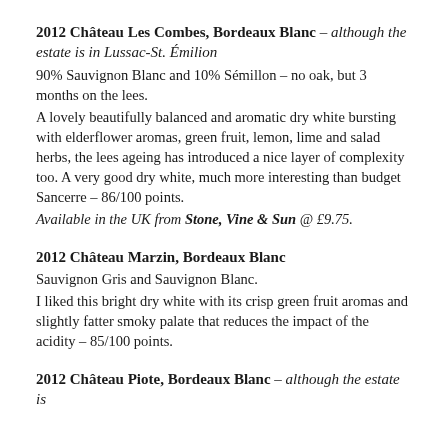2012 Château Les Combes, Bordeaux Blanc – although the estate is in Lussac-St. Émilion
90% Sauvignon Blanc and 10% Sémillon – no oak, but 3 months on the lees.
A lovely beautifully balanced and aromatic dry white bursting with elderflower aromas, green fruit, lemon, lime and salad herbs, the lees ageing has introduced a nice layer of complexity too. A very good dry white, much more interesting than budget Sancerre – 86/100 points.
Available in the UK from Stone, Vine & Sun @ £9.75.
2012 Château Marzin, Bordeaux Blanc
Sauvignon Gris and Sauvignon Blanc.
I liked this bright dry white with its crisp green fruit aromas and slightly fatter smoky palate that reduces the impact of the acidity – 85/100 points.
2012 Château Piote, Bordeaux Blanc – although the estate is